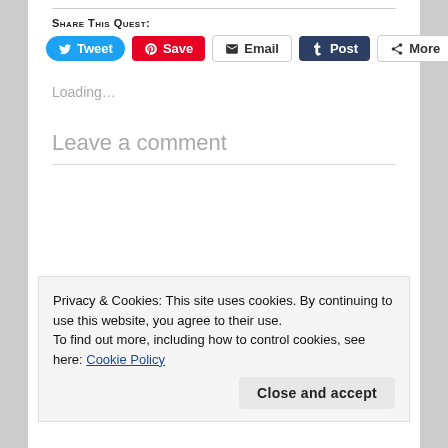Share This Quest:
[Figure (other): Social share buttons: Tweet (Twitter/blue), Save (Pinterest/red), Email (grey outline), Post (Tumblr/dark blue), More (grey outline)]
Loading...
Leave a comment
Privacy & Cookies: This site uses cookies. By continuing to use this website, you agree to their use.
To find out more, including how to control cookies, see here: Cookie Policy
Close and accept